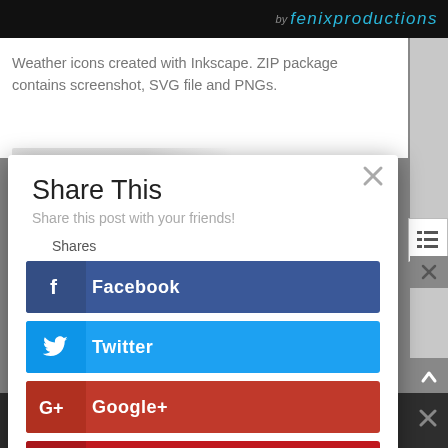[Figure (screenshot): Top black banner with 'by fenixproductions' text in teal/cyan italic font]
Weather icons created with Inkscape. ZIP package contains screenshot, SVG file and PNGs.
Share This
Share this post with your friends!
Shares
[Figure (screenshot): Facebook share button - dark blue with f icon and label Facebook]
[Figure (screenshot): Twitter share button - light blue with bird icon and label Twitter]
[Figure (screenshot): Google+ share button - red with G+ icon and label Google+]
[Figure (screenshot): Pinterest share button - dark red with P icon and label Pinterest]